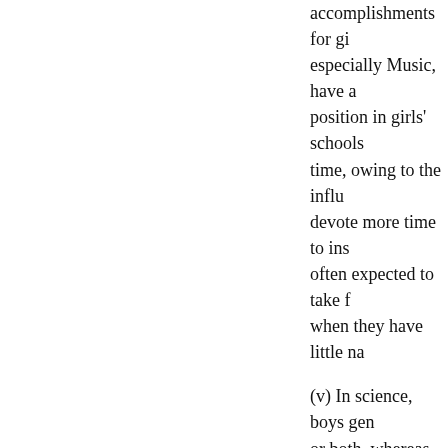accomplishments for gi especially Music, have a position in girls' schools time, owing to the influ devote more time to ins often expected to take f when they have little na
(v) In science, boys gen or both, whereas girls u difference is largely due girls' schools were unab apparatus required for C required for Physics.
(1) cf. footnote 2 on p. 120.
(2) cf. Burstall English High Schools
[page 134]
(10) How far is it advisable to especially in girls' schools, an the pupils?